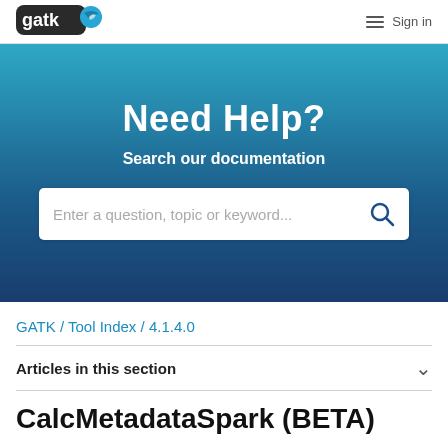[Figure (logo): GATK logo with blue bird icon on dark background]
Sign in
Need Help?
Search our documentation
Enter a question, topic or keyword...
GATK / Tool Index / 4.1.4.0
Articles in this section
CalcMetadataSpark (BETA)